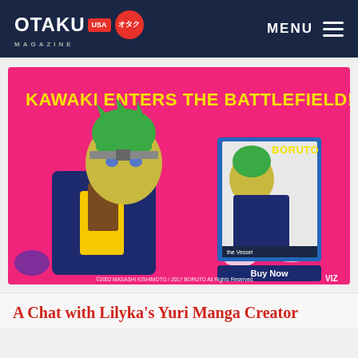OTAKU USA MAGAZINE | MENU
[Figure (screenshot): Boruto anime advertisement banner: pink background with anime character Kawaki in green hair, navy jacket, yellow scarf. Text reads 'KAWAKI ENTERS THE BATTLEFIELD!' in yellow. Shows Boruto Blu-ray box art and a 'Buy Now' button. Copyright: ©2002 MASASHI KISHIMOTO / 2017 BORUTO All Rights Reserved. VIZ]
A Chat with Lilyka's Yuri Manga Creator